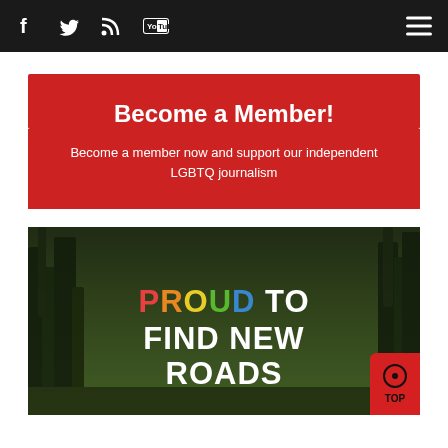Navigation bar with social icons (Facebook, Twitter, RSS, YouTube) and hamburger menu
Become a Member!
Become a member now and support our independent LGBTQ journalism
[Figure (photo): Forest scene with trees and overlay text reading 'PROUD TO FIND NEW ROADS' with PROUD in rainbow colors and rest in white bold text. A red 'TOP' button in the lower right corner.]